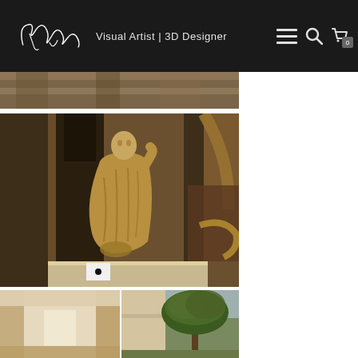Visual Artist | 3D Designer
[Figure (photo): Partial view of stone/architectural detail, cropped]
[Figure (photo): Classical Roman statue of a draped figure standing among marble columns inside what appears to be the Pantheon or similar ancient Roman building]
[Figure (photo): Interior architectural detail with light walls]
[Figure (photo): Outdoor scene with large umbrella pine / Mediterranean tree]